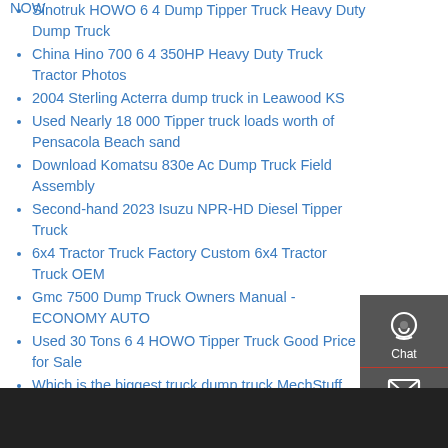NOW
Sinotruk HOWO 6 4 Dump Tipper Truck Heavy Duty Dump Truck
China Hino 700 6 4 350HP Heavy Duty Truck Tractor Photos
2004 Sterling Acterra dump truck in Leawood KS
Used Nearly 18 000 Tipper truck loads worth of Pensacola Beach sand
Download Komatsu 830e Ac Dump Truck Field Assembly
Second-hand 2023 Isuzu NPR-HD Diesel Tipper Truck
6x4 Tractor Truck Factory Custom 6x4 Tractor Truck OEM
Gmc 7500 Dump Truck Owners Manual - ECONOMY AUTO
Used 30 Tons 6 4 HOWO Tipper Truck Good Price for Sale
Which is the biggest truck dump truck MechStuff
Second-hand Dump Trucks 101
US 281 Truck Trailer Services LLC - 2016 Volvo VNL Dump